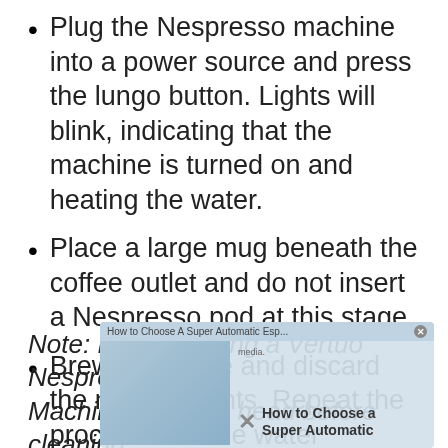Plug the Nespresso machine into a power source and press the lungo button. Lights will blink, indicating that the machine is turned on and heating the water.
Place a large mug beneath the coffee outlet and do not insert a Nespresso pod at this stage.
Brew one cycle and discard the mug contents. Repeat the process until the water reservoir is completely empty.
Note: If you’re using a Vertuo Nespresso Machine, lock the head before cleaning...
[Figure (screenshot): Partially visible advertisement overlay for 'How to Choose A Super Automatic Esp...' with a close button (X), partially obscuring the note text. Contains text 'How to Choose A Super Automatic' with a large X mark and a blurred background image.]